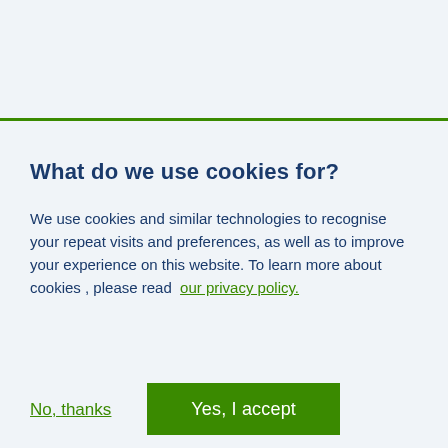What do we use cookies for?
We use cookies and similar technologies to recognise your repeat visits and preferences, as well as to improve your experience on this website. To learn more about cookies , please read  our privacy policy.
No, thanks
Yes, I accept